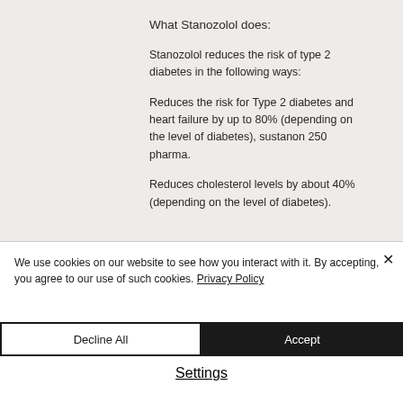What Stanozolol does:
Stanozolol reduces the risk of type 2 diabetes in the following ways:
Reduces the risk for Type 2 diabetes and heart failure by up to 80% (depending on the level of diabetes), sustanon 250 pharma.
Reduces cholesterol levels by about 40% (depending on the level of diabetes).
We use cookies on our website to see how you interact with it. By accepting, you agree to our use of such cookies. Privacy Policy
Decline All
Accept
Settings